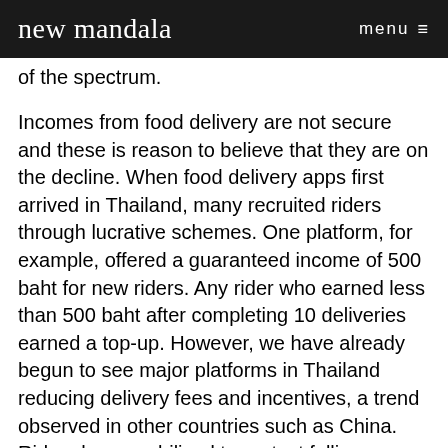new mandala   menu ≡
of the spectrum.
Incomes from food delivery are not secure and these is reason to believe that they are on the decline. When food delivery apps first arrived in Thailand, many recruited riders through lucrative schemes. One platform, for example, offered a guaranteed income of 500 baht for new riders. Any rider who earned less than 500 baht after completing 10 deliveries earned a top-up. However, we have already begun to see major platforms in Thailand reducing delivery fees and incentives, a trend observed in other countries such as China. Riders have mobilised to protest falling delivery fees in a score of provinces across Thailand. Some argue that